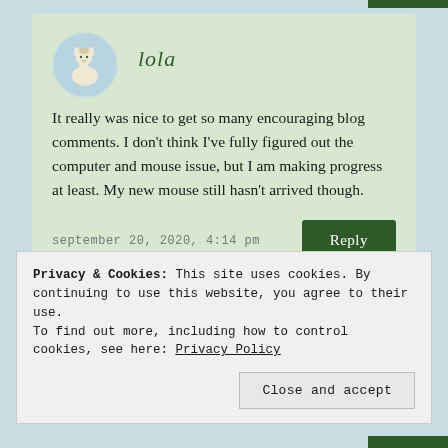lola
It really was nice to get so many encouraging blog comments. I don't think I've fully figured out the computer and mouse issue, but I am making progress at least. My new mouse still hasn't arrived though.
september 20, 2020, 4:14 pm
Reply
Privacy & Cookies: This site uses cookies. By continuing to use this website, you agree to their use.
To find out more, including how to control cookies, see here: Privacy Policy
Close and accept